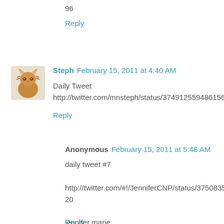96
Reply
Steph  February 15, 2011 at 4:40 AM
Daily Tweet
http://twitter.com/mnsteph/status/37491255948615680
Reply
Anonymous  February 15, 2011 at 5:48 AM
daily tweet #7

http://twitter.com/#!/JenniferCNP/status/37508355878686720

jennifer marie

lilnursejen at yahoo dot com
Reply